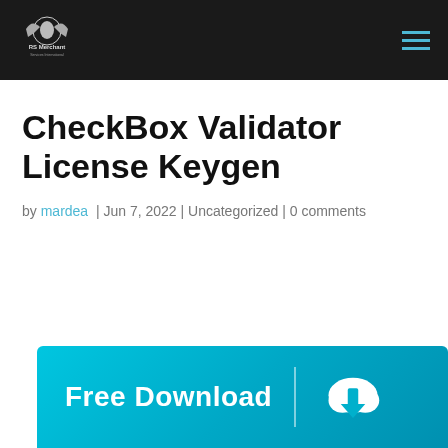RS Merchant — navigation header with logo and hamburger menu
CheckBox Validator License Keygen
by mardea | Jun 7, 2022 | Uncategorized | 0 comments
[Figure (illustration): Free Download button banner with cloud download icon on cyan/blue gradient background]